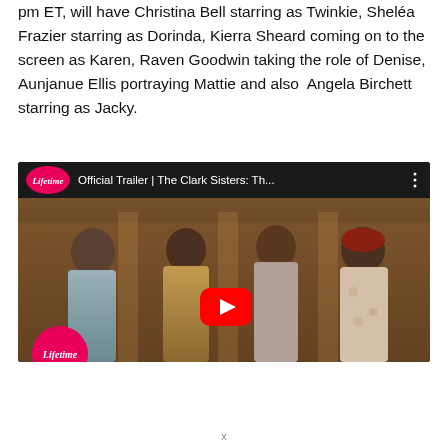pm ET, will have Christina Bell starring as Twinkie, Sheléa Frazier starring as Dorinda, Kierra Sheard coming on to the screen as Karen, Raven Goodwin taking the role of Denise, Aunjanue Ellis portraying Mattie and also  Angela Birchett starring as Jacky.
[Figure (screenshot): YouTube embed thumbnail showing Official Trailer | The Clark Sisters: Th... with Lifetime logo, four young girls in vintage clothing, and a red YouTube play button in the center.]